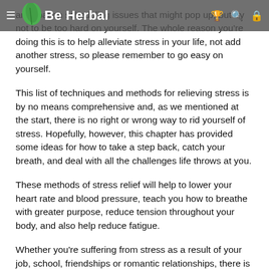Be Herbal
anticipation scheduling issues that might pop up, but try not to be too hard on yourself. The whole reason you're doing this is to help alleviate stress in your life, not add another stress, so please remember to go easy on yourself.
This list of techniques and methods for relieving stress is by no means comprehensive and, as we mentioned at the start, there is no right or wrong way to rid yourself of stress. Hopefully, however, this chapter has provided some ideas for how to take a step back, catch your breath, and deal with all the challenges life throws at you.
These methods of stress relief will help to lower your heart rate and blood pressure, teach you how to breathe with greater purpose, reduce tension throughout your body, and also help reduce fatigue.
Whether you're suffering from stress as a result of your job, school, friendships or romantic relationships, there is no better time to start making changes in your life than right now. One thing to keep in mind is the changes don't